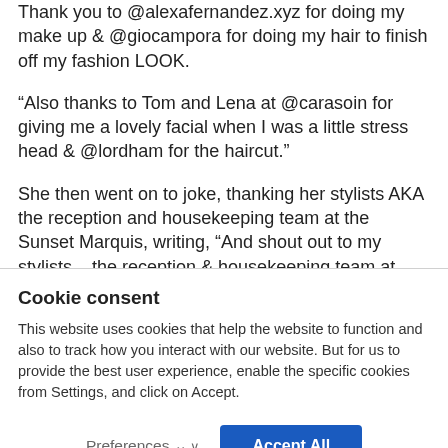Thank you to @alexafernandez.xyz for doing my make up & @giocampora for doing my hair to finish off my fashion LOOK.
“Also thanks to Tom and Lena at @carasoin for giving me a lovely facial when I was a little stress head & @lordham for the haircut.”
She then went on to joke, thanking her stylists AKA the reception and housekeeping team at the Sunset Marquis, writing, “And shout out to my stylists – the reception & housekeeping team at @sunsetmarquis
Cookie consent
This website uses cookies that help the website to function and also to track how you interact with our website. But for us to provide the best user experience, enable the specific cookies from Settings, and click on Accept.